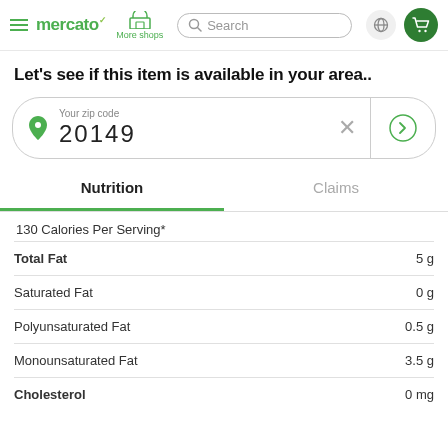mercato  More shops  Search
Let's see if this item is available in your area..
Your zip code 20149
Nutrition  Claims
130 Calories Per Serving*
| Nutrient | Amount |
| --- | --- |
| Total Fat | 5 g |
| Saturated Fat | 0 g |
| Polyunsaturated Fat | 0.5 g |
| Monounsaturated Fat | 3.5 g |
| Cholesterol | 0 mg |